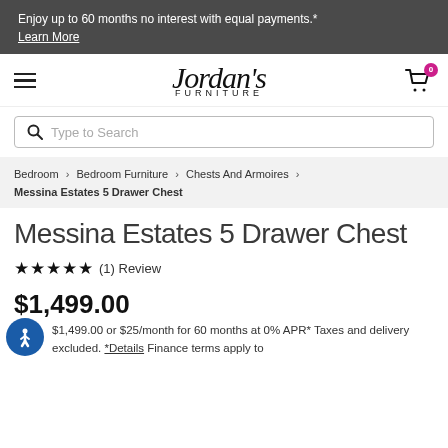Enjoy up to 60 months no interest with equal payments.* Learn More
[Figure (logo): Jordan's Furniture logo with hamburger menu and shopping cart icon with badge 0]
[Figure (screenshot): Search bar with magnifying glass icon and placeholder text 'Type to Search']
Bedroom > Bedroom Furniture > Chests And Armoires > Messina Estates 5 Drawer Chest
Messina Estates 5 Drawer Chest
★★★★★ (1) Review
$1,499.00
$1,499.00 or $25/month for 60 months at 0% APR* Taxes and delivery excluded. *Details Finance terms apply to